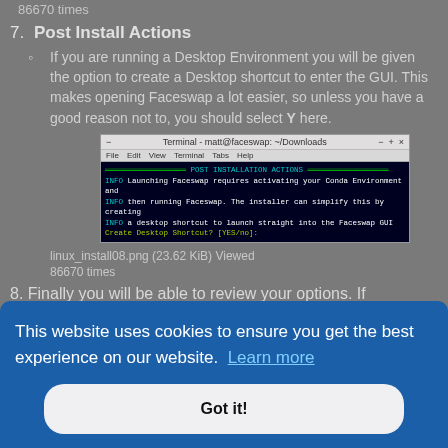86670 times
7. Post Install Actions
If you are running a Desktop Environment you will be given the option to create a Desktop shortcut to enter the GUI. This makes opening Faceswap a lot easier, so unless you have a good reason not to, you should select Y here.
[Figure (screenshot): Terminal window showing POST INSTALLATION ACTIONS with INFO messages about launching Faceswap and creating a desktop shortcut. Prompt: Create Desktop Shortcut? [YES/no]:]
linux_install08.png (23.62 KiB) Viewed 86670 times
8. Finally you will be able to review your options. If
This website uses cookies to ensure you get the best experience on our website. Learn more
Got it!